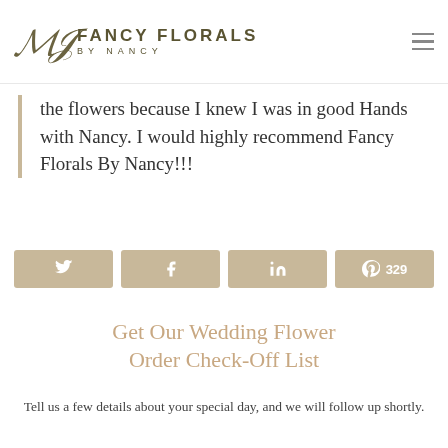FANCY FLORALS BY NANCY
the flowers because I knew I was in good Hands with Nancy. I would highly recommend Fancy Florals By Nancy!!!
[Figure (infographic): Social share buttons: Twitter, Facebook, LinkedIn, Pinterest with count 329]
Get our Wedding Flower Order Check-off List
Tell us a few details about your special day, and we will follow up shortly.